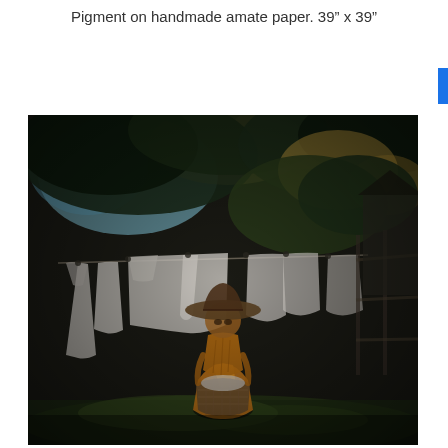Pigment on handmade amate paper. 39" x 39"
[Figure (illustration): Artwork depicting a figure in an orange dress and wide-brimmed hat holding a wicker laundry basket, standing in a backyard garden. White laundry items hang on a clothesline in the background, with dark trees overhead and a fence to the right. The image has a soft, painterly, slightly blurred aesthetic with rich, warm tones. Rendered as pigment on handmade amate paper.]